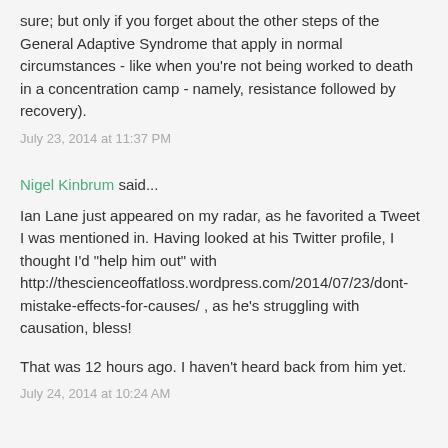sure; but only if you forget about the other steps of the General Adaptive Syndrome that apply in normal circumstances - like when you're not being worked to death in a concentration camp - namely, resistance followed by recovery).
July 23, 2014 at 11:37 PM
Nigel Kinbrum said...
Ian Lane just appeared on my radar, as he favorited a Tweet I was mentioned in. Having looked at his Twitter profile, I thought I'd "help him out" with http://thescienceoffatloss.wordpress.com/2014/07/23/dont-mistake-effects-for-causes/ , as he's struggling with causation, bless!
That was 12 hours ago. I haven't heard back from him yet.
July 24, 2014 at 10:24 AM